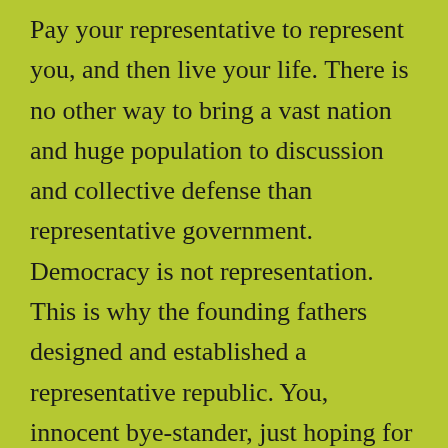Pay your representative to represent you, and then live your life. There is no other way to bring a vast nation and huge population to discussion and collective defense than representative government. Democracy is not representation. This is why the founding fathers designed and established a representative republic. You, innocent bye-stander, just hoping for decent, honest government to take care of some things individuals cannot. How do I raise an army for legitimate collective defense? Impossible. This is the anarchy of the far right that the founding fathers had to reconcile and organize while restricting fr left-wing tendencies to tyranny. Left wing is tyranny, totalitarianism, government doing everything and oppressing to accomplish it all. Right wing is man's natural tendency to want absolute freedom. It is dangerous and perfectly vulnerable